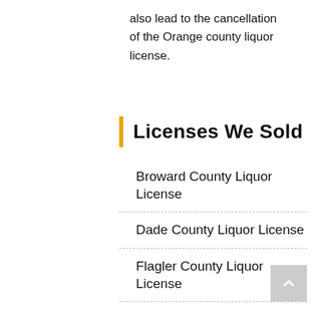also lead to the cancellation of the Orange county liquor license.
Licenses We Sold
Broward County Liquor License
Dade County Liquor License
Flagler County Liquor License
Lee County Liquor License
Orange County Liquor License